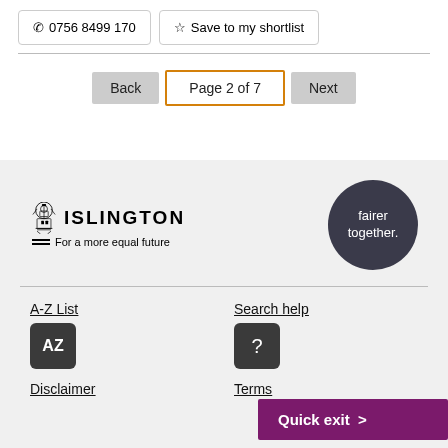📞 0756 8499 170
☆ Save to my shortlist
Back | Page 2 of 7 | Next
[Figure (logo): Islington council logo with crest and tagline 'For a more equal future']
[Figure (logo): Fairer together circular logo in dark navy/charcoal]
A-Z List
[Figure (other): AZ icon button]
Search help
[Figure (other): Question mark icon button]
Disclaimer
Terms
Quick exit >